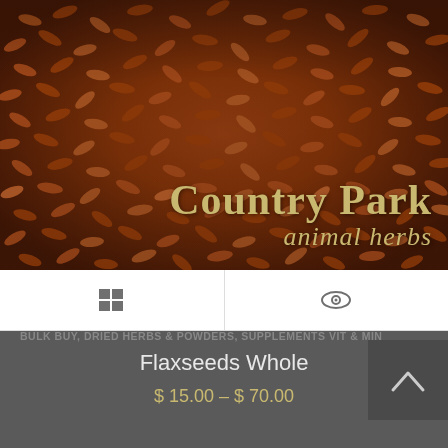[Figure (photo): Close-up photo of whole brown flaxseeds filling the frame, with Country Park animal herbs logo/text overlaid in gold/olive colored text at the bottom right of the image]
BULK BUY, DRIED HERBS & POWDERS, SUPPLEMENTS VIT & MIN
Flaxseeds Whole
$ 15.00 – $ 70.00